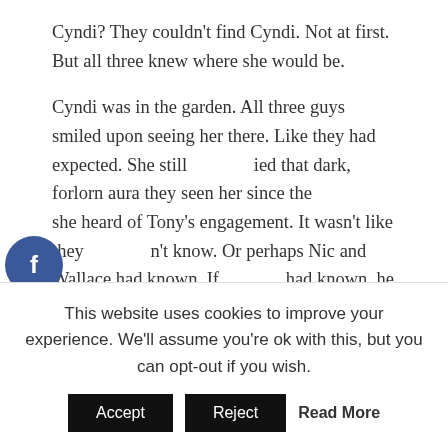Cyndi? They couldn't find Cyndi. Not at first. But all three knew where she would be.
Cyndi was in the garden. All three guys smiled upon seeing her there. Like they had expected. She still ied that dark, forlorn aura they seen her since the she heard of Tony's engagement. It wasn't like they n't know. Or perhaps Nic and Wallace had known. If had known, he wouldn't expect her to attend the lding so forcibly like that. Though they only saw her by the fountain, it was enough. It was her trademark pose. And the crème scarf. And the light tan dress with the white hat. It was like she hadn't changed
[Figure (other): Social share buttons: Facebook (blue circle with f), Twitter (blue circle with bird icon), Pinterest (red circle with P and count of 1). SHARES label below.]
This website uses cookies to improve your experience. We'll assume you're ok with this, but you can opt-out if you wish.